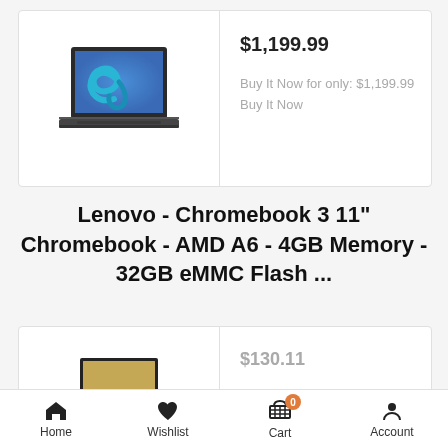[Figure (photo): Laptop/Chromebook product photo with blue swirl logo on screen]
$1,199.99
Buy It Now for only: $1,199.99
Buy It Now
Lenovo - Chromebook 3 11" Chromebook - AMD A6 - 4GB Memory - 32GB eMMC Flash ...
[Figure (photo): Dark colored laptop/Chromebook product photo]
$130.11
Home   Wishlist   Cart   Account